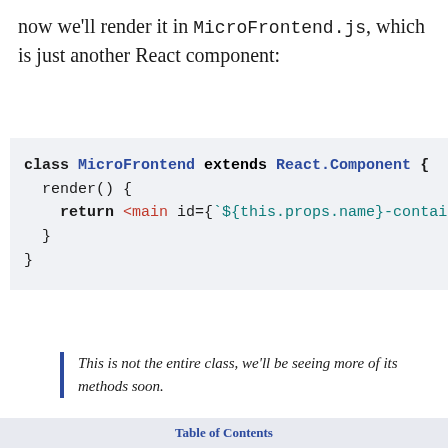now we'll render it in MicroFrontend.js, which is just another React component:
[Figure (screenshot): Code block showing a JavaScript class definition: class MicroFrontend extends React.Component { render() { return <main id={`${this.props.name}-contai... } }]
This is not the entire class, we'll be seeing more of its methods soon.
When rendering, all we do is put a container element on the page, with an ID that's unique to the micro frontend. This is where we'll tell
Table of Contents